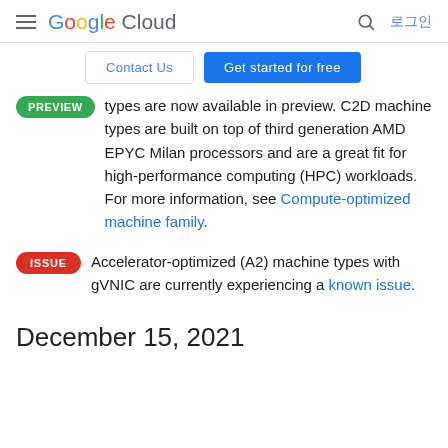Google Cloud — 로그인
Contact Us | Get started for free
Preview: Compute optimized C2D machine types are now available in preview. C2D machine types are built on top of third generation AMD EPYC Milan processors and are a great fit for high-performance computing (HPC) workloads. For more information, see Compute-optimized machine family.
ISSUE: Accelerator-optimized (A2) machine types with gVNIC are currently experiencing a known issue.
December 15, 2021